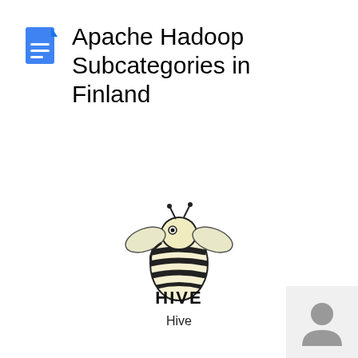Apache Hadoop Subcategories in Finland
[Figure (logo): Apache Hive logo: a bee with elephant-like features and striped body with bold text 'HIVE']
Hive
[Figure (logo): Apache Impala logo: a stylized antelope head silhouette in dark gray]
Impala
[Figure (illustration): Small gray user/person avatar icon in bottom-right corner]